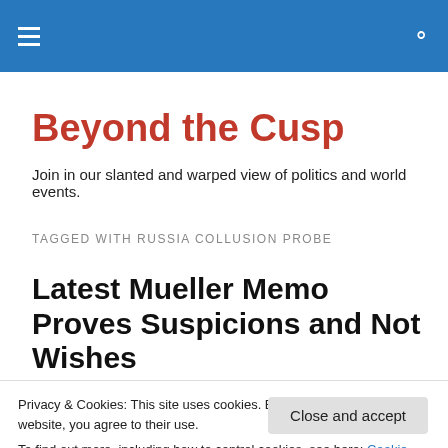Beyond the Cusp — navigation header bar
Beyond the Cusp
Join in our slanted and warped view of politics and world events.
TAGGED WITH RUSSIA COLLUSION PROBE
Latest Mueller Memo Proves Suspicions and Not Wishes
Privacy & Cookies: This site uses cookies. By continuing to use this website, you agree to their use.
To find out more, including how to control cookies, see here: Cookie Policy